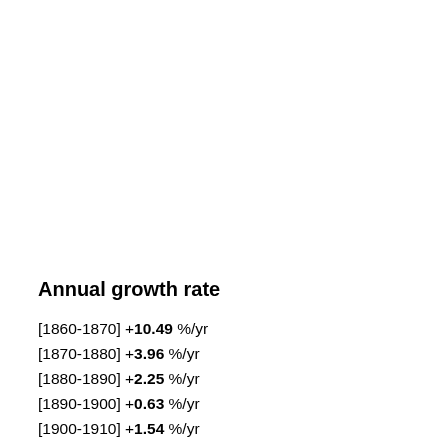Annual growth rate
[1860-1870] +10.49 %/yr
[1870-1880] +3.96 %/yr
[1880-1890] +2.25 %/yr
[1890-1900] +0.63 %/yr
[1900-1910] +1.54 %/yr
[1910-1920] +0.12 %/yr
[1920-1930] +3.26 %/yr
[1930-1940] +0.88 %/yr
[1940-1950] +2.53 %/yr